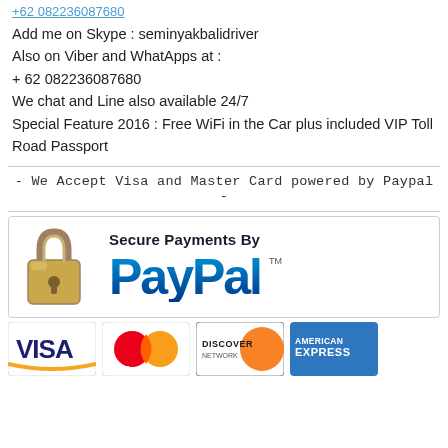Add me on Skype : seminyakbalidriver
Also on Viber and WhatApps at :
+ 62 082236087680
We chat and Line also available 24/7
Special Feature 2016 : Free WiFi in the Car plus included VIP Toll Road Passport
- We Accept Visa and Master Card powered by Paypal -
[Figure (logo): Secure Payments By PayPal banner with padlock icon]
[Figure (logo): Payment card logos: VISA, MasterCard, Discover Network, American Express]